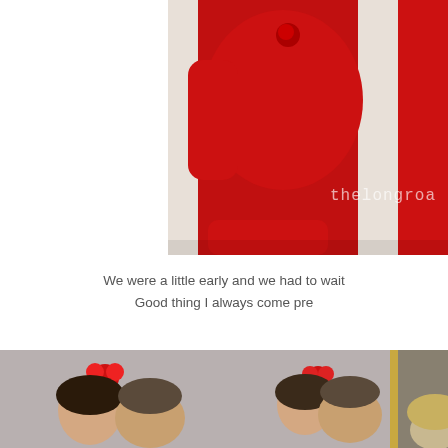[Figure (photo): Two children wearing matching red sweatshirts/outfits. The image is cropped showing the torsos and arms of the children. A watermark text 'thelongroa' is visible in the lower right area of the photo.]
We were a little early and we had to wait Good thing I always come pre
[Figure (photo): A family photo showing a young girl with a red bow/flower in her hair sitting on a man's shoulders. Part of another person with blonde hair is visible on the right. The background shows a grey wall and the edge of a gold-framed picture.]